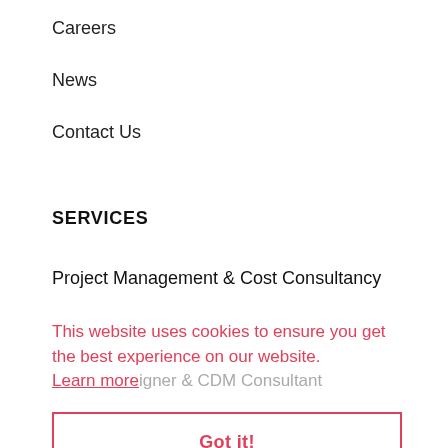Careers
News
Contact Us
SERVICES
Project Management & Cost Consultancy
Building Surveying & Party Walls
This website uses cookies to ensure you get the best experience on our website.
Learn more
Got it!
Architecture & Planning
RECENT NEWS